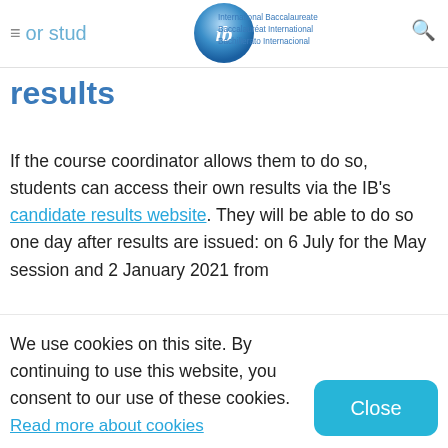For students ... your results — International Baccalaureate / Baccalauréat International / Bachillerato Internacional
results
If the course coordinator allows them to do so, students can access their own results via the IB's candidate results website. They will be able to do so one day after results are issued: on 6 July for the May session and 2 January 2021 from
We use cookies on this site. By continuing to use this website, you consent to our use of these cookies.
Read more about cookies